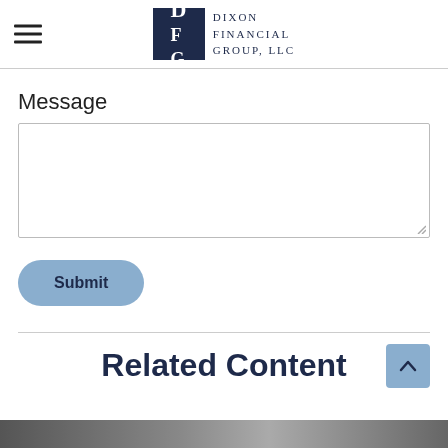Dixon Financial Group, LLC
Message
[Figure (screenshot): Empty text area input box for entering a message]
[Figure (screenshot): Submit button with rounded corners and light blue background]
Related Content
[Figure (photo): Partial image visible at bottom of page]